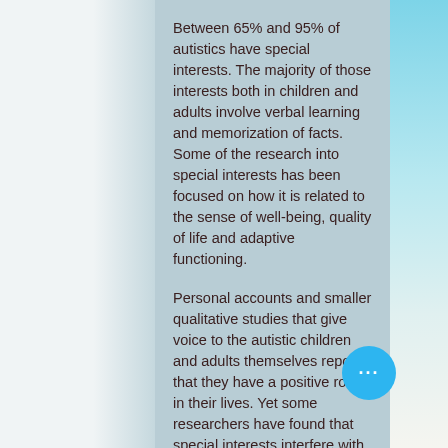Between 65% and 95% of autistics have special interests. The majority of those interests both in children and adults involve verbal learning and memorization of facts. Some of the research into special interests has been focused on how it is related to the sense of well-being, quality of life and adaptive functioning.
Personal accounts and smaller qualitative studies that give voice to the autistic children and adults themselves report that they have a positive role in their lives. Yet some researchers have found that special interests interfere with learning social activities and behavioral